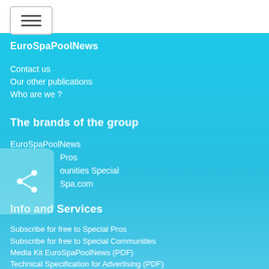EuroSpaPoolNews
Contact us
Our other publications
Who are we ?
The brands of the group
EuroSpaPoolNews
... Pros
...ounities Special
...Spa.com
Info and Services
Subscribe for free to Special Pros
Subscribe for free to Special Communities
Media Kit EuroSpaPoolNews (PDF)
Technical Specification for Advertising (PDF)